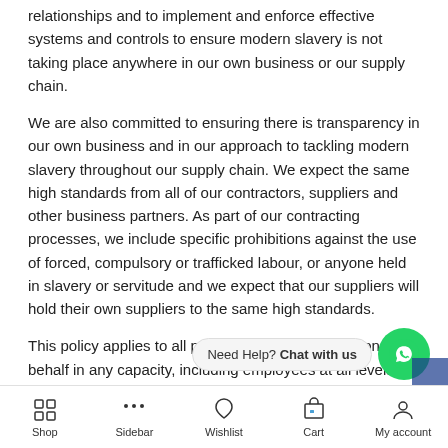relationships and to implement and enforce effective systems and controls to ensure modern slavery is not taking place anywhere in our own business or our supply chain.
We are also committed to ensuring there is transparency in our own business and in our approach to tackling modern slavery throughout our supply chain. We expect the same high standards from all of our contractors, suppliers and other business partners. As part of our contracting processes, we include specific prohibitions against the use of forced, compulsory or trafficked labour, or anyone held in slavery or servitude and we expect that our suppliers will hold their own suppliers to the same high standards.
This policy applies to all persons working for us or on our behalf in any capacity, including employees at all levels, directors, officers, agency workers, seconded workers, volunteers, agents, contractors, external consultants, third-pa…
Shop | Sidebar | Wishlist | Cart | My account